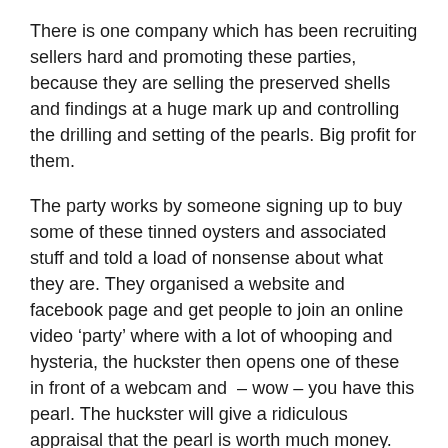There is one company which has been recruiting sellers hard and promoting these parties, because they are selling the preserved shells and findings at a huge mark up and controlling the drilling and setting of the pearls. Big profit for them.
The party works by someone signing up to buy some of these tinned oysters and associated stuff and told a load of nonsense about what they are. They organised a website and facebook page and get people to join an online  video ‘party’ where with a lot of whooping and hysteria, the huckster then opens one of these in front of a webcam and  – wow – you have this pearl. The huckster will give a ridiculous appraisal that the pearl is worth much money. (no it is not)
Or the opening is done in the shop or the end of the pier. But the pearl inside is yours. And, not only do you have this pearl now, but you can buy the finding -some basket pendant holder usually – to display it. And it only costs £££.